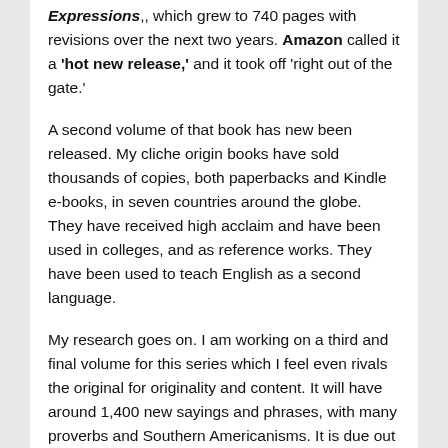Expressions,, which grew to 740 pages with revisions over the next two years. Amazon called it a 'hot new release,' and it took off 'right out of the gate.'
A second volume of that book has new been released. My cliche origin books have sold thousands of copies, both paperbacks and Kindle e-books, in seven countries around the globe. They have received high acclaim and have been used in colleges, and as reference works. They have been used to teach English as a second language.
My research goes on. I am working on a third and final volume for this series which I feel even rivals the original for originality and content. It will have around 1,400 new sayings and phrases, with many proverbs and Southern Americanisms. It is due out in 2019. Here is one I researched today:
Fixing to (or, 'fixin' to')
This largely Southern American idiom means that one is in the process of planning to do something; getting ready to